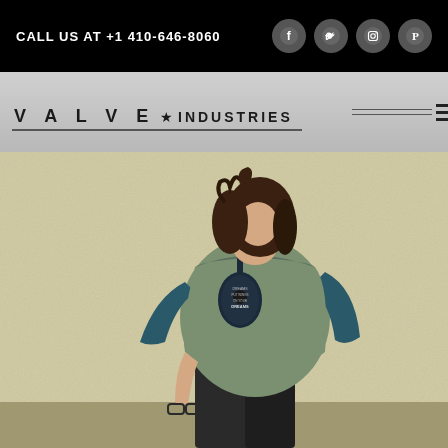CALL US AT +1 410-646-8060
[Figure (logo): Valve Industries logo with text VALVE INDUSTRIES on grey bar with hamburger menu]
[Figure (photo): Woman wearing a two-tone teal/green off-shoulder sweatshirt with a guitar graphic print reading PUT WINGS ON YOUR DREAMS, standing against a textured yellow wall, holding sunglasses]